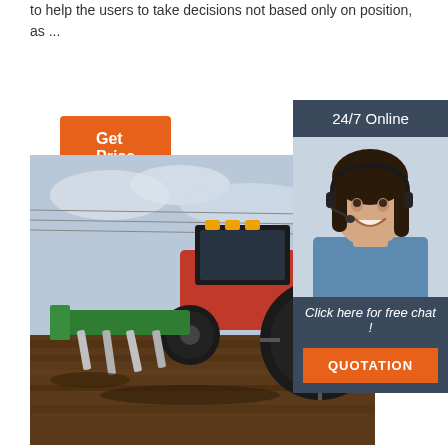to help the users to take decisions not based only on position, as ...
Get Price
[Figure (photo): A red tractor with green plow attachment working in a field, plowing soil under a cloudy sky]
[Figure (infographic): 24/7 Online chat widget with female customer service agent wearing headset, with 'Click here for free chat!' text and orange QUOTATION button]